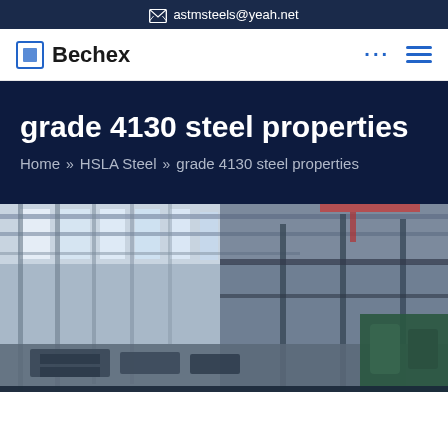astmsteels@yeah.net
[Figure (logo): Bechex logo with navigation icons including dots and hamburger menu]
grade 4130 steel properties
Home » HSLA Steel » grade 4130 steel properties
[Figure (photo): Interior of a steel manufacturing facility/warehouse with large structural beams, cranes overhead, and steel products on the floor]